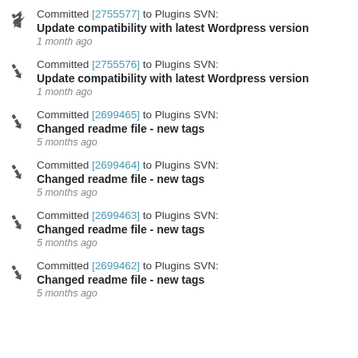Committed [2755577] to Plugins SVN: Update compatibility with latest Wordpress version 1 month ago
Committed [2755576] to Plugins SVN: Update compatibility with latest Wordpress version 1 month ago
Committed [2699465] to Plugins SVN: Changed readme file - new tags 5 months ago
Committed [2699464] to Plugins SVN: Changed readme file - new tags 5 months ago
Committed [2699463] to Plugins SVN: Changed readme file - new tags 5 months ago
Committed [2699462] to Plugins SVN: Changed readme file - new tags 5 months ago